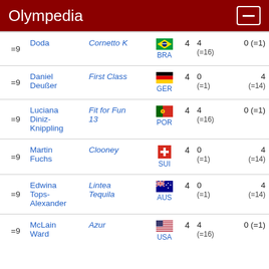Olympedia
| Rank | Name | Horse | Country | Pts | Col5 | Col6 |
| --- | --- | --- | --- | --- | --- | --- |
| =9 | Doda | Cornetto K | BRA | 4 | 4 (=16) | 0 (=1) |
| =9 | Daniel Deußer | First Class | GER | 4 | 0 (=1) | 4 (=14) |
| =9 | Luciana Diniz-Knippling | Fit for Fun 13 | POR | 4 | 4 (=16) | 0 (=1) |
| =9 | Martin Fuchs | Clooney | SUI | 4 | 0 (=1) | 4 (=14) |
| =9 | Edwina Tops-Alexander | Lintea Tequila | AUS | 4 | 0 (=1) | 4 (=14) |
| =9 | McLain Ward | Azur | USA | 4 | 4 (=16) | 0 (=1) |